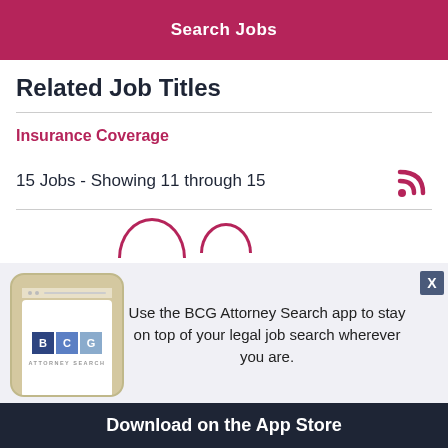Search Jobs
Related Job Titles
Insurance Coverage
15 Jobs - Showing 11 through 15
[Figure (infographic): BCG Attorney Search app promotional banner showing a smartphone with BCG Attorney Search logo and text: Use the BCG Attorney Search app to stay on top of your legal job search wherever you are. Download on the App Store.]